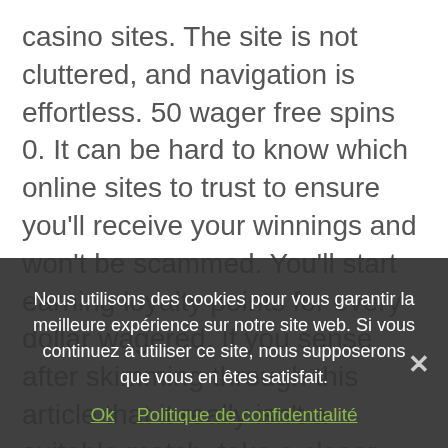casino sites. The site is not cluttered, and navigation is effortless. 50 wager free spins 0. It can be hard to know which online sites to trust to ensure you'll receive your winnings and won't be scammed. You'll start earning loyalty points for every dollar wagered. If you sense after skimming through this article that it really isn't a suitable match, take a closer look at Mr. This company has kept things fair. This means that all the VIP points I had accumulated at other sister casinos can be used on Casino Classic too. We cater to a large market of players around the world and are ready to welcome you. That said, each one specialises in di… Salon de je… A pioneer in online casino since 2001, the
Nous utilisons des cookies pour vous garantir la meilleure expérience sur notre site web. Si vous continuez à utiliser ce site, nous supposerons que vous en êtes satisfait.
Ok   Politique de confidentialité